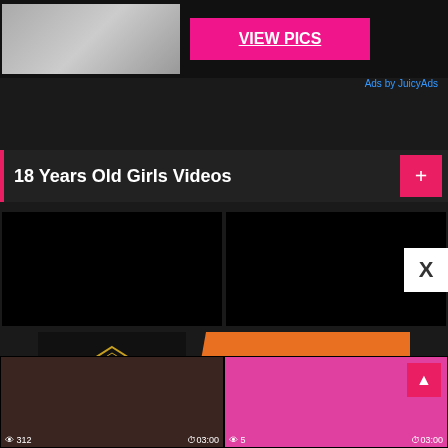[Figure (screenshot): Top advertisement banner with pink VIEW PICS button and partial image thumbnail]
Ads by JuicyAds
18 Years Old Girls Videos
[Figure (screenshot): Two black video thumbnails side by side with close (X) button overlay]
[Figure (screenshot): IDKS Indonesia Casino advertisement banner: KLAIM BONUS MEMBER BARU SLOT BISA 2 KALI! DAFTAR SEKARANG]
[Figure (screenshot): Two video thumbnails at bottom - left shows intimate scene with view count 312 and duration 03:00, right shows woman in pink hijab with view count 5 and duration 03:00]